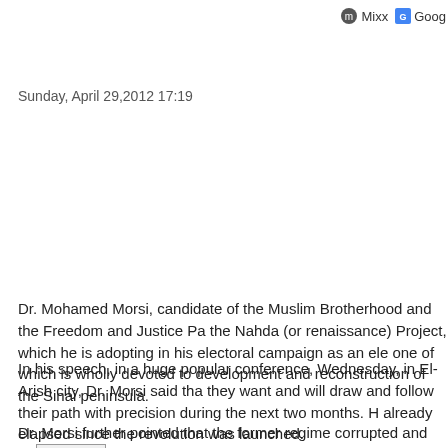Mixx  Goog
Sunday, April 29,2012 17:19
Listen
Dr. Mohamed Morsi, candidate of the Muslim Brotherhood and the Freedom and Justice Party, has presented the Nahda (or renaissance) Project, which he is adopting in his electoral campaign as an electoral program made up of one of which is wholly devoted to development and reconstruction of the Sinai peninsula.
In his speech, in a huge popular conference, Wednesday, in El-Arish city, Dr. Morsi said that the people know what they want and will draw and follow their path with precision during the next two months. He referred to 16 months already elapsed since the revolution was launched.
Dr. Morsi further pointed that the former regime corrupted and destroyed the country, thinking that they would not be accountable.
“But power has been removed from the unscrupulous repressive tyrants, and handed to the people who have the will to prevail and so as they work on the development of their lands once again.”
Dr. Morsi stressed that Nahda Project is devoted to the nation, for all the people to join-in and work, expressing hope that Egypt would be rebuilt and revitalized by the hands of its own men and women.